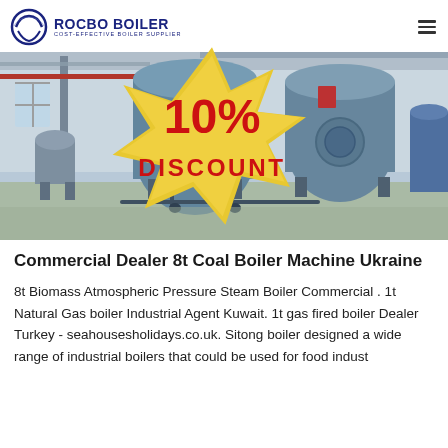ROCBO BOILER — COST-EFFECTIVE BOILER SUPPLIER
[Figure (photo): Industrial boilers in a factory setting — large blue cylindrical steam boilers on stands inside a clean industrial facility. A '10% DISCOUNT' badge appears in the bottom-right corner of the image.]
Commercial Dealer 8t Coal Boiler Machine Ukraine
8t Biomass Atmospheric Pressure Steam Boiler Commercial . 1t Natural Gas boiler Industrial Agent Kuwait. 1t gas fired boiler Dealer Turkey - seahousesholidays.co.uk. Sitong boiler designed a wide range of industrial boilers that could be used for food indust